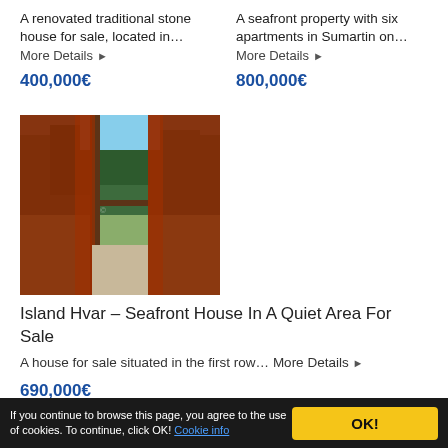A renovated traditional stone house for sale, located in…
More Details ▶
400,000€
A seafront property with six apartments in Sumartin on…
More Details ▶
800,000€
[Figure (photo): Interior view of a seafront house with red curtains framing an open door/window looking out to trees and garden]
Island Hvar – Seafront House In A Quiet Area For Sale
A house for sale situated in the first row… More Details ▶
690,000€
If you continue to browse this page, you agree to the use of cookies. To continue, click OK! Cookie info